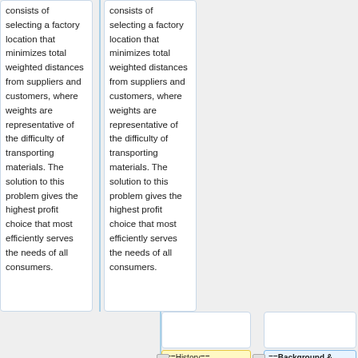consists of selecting a factory location that minimizes total weighted distances from suppliers and customers, where weights are representative of the difficulty of transporting materials. The solution to this problem gives the highest profit choice that most efficiently serves the needs of all consumers.
consists of selecting a factory location that minimizes total weighted distances from suppliers and customers, where weights are representative of the difficulty of transporting materials. The solution to this problem gives the highest profit choice that most efficiently serves the needs of all consumers.
==History==
==Background & History==